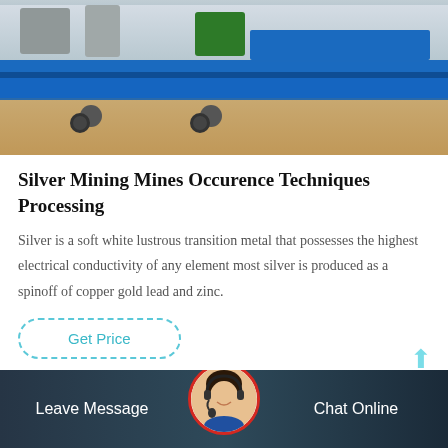[Figure (photo): Industrial mining machinery with blue steel frame on sandy/dirt ground]
Silver Mining Mines Occurence Techniques Processing
Silver is a soft white lustrous transition metal that possesses the highest electrical conductivity of any element most silver is produced as a spinoff of copper gold lead and zinc.
[Figure (other): Get Price button with dashed teal border and teal text]
[Figure (other): Customer service representative avatar with red border circle, Leave Message and Chat Online footer bar]